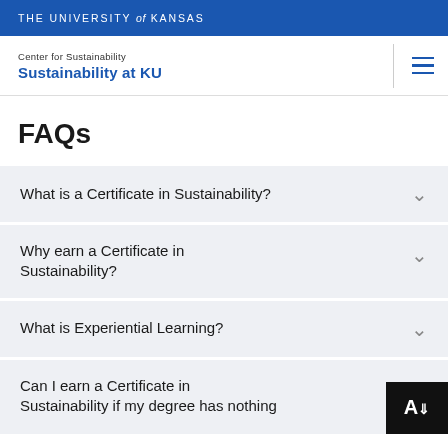THE UNIVERSITY of KANSAS
Center for Sustainability
Sustainability at KU
FAQs
What is a Certificate in Sustainability?
Why earn a Certificate in Sustainability?
What is Experiential Learning?
Can I earn a Certificate in Sustainability if my degree has nothing